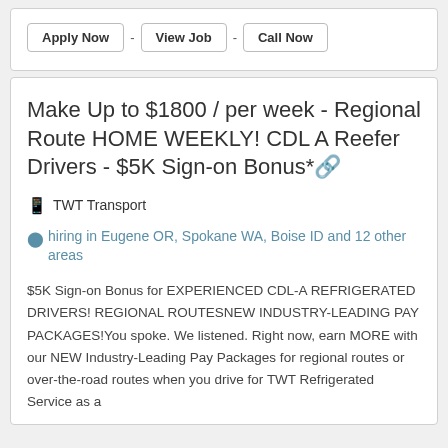Apply Now - View Job - Call Now
Make Up to $1800 / per week - Regional Route HOME WEEKLY! CDL A Reefer Drivers - $5K Sign-on Bonus*
TWT Transport
hiring in Eugene OR, Spokane WA, Boise ID and 12 other areas
$5K Sign-on Bonus for EXPERIENCED CDL-A REFRIGERATED DRIVERS! REGIONAL ROUTESNEW INDUSTRY-LEADING PAY PACKAGES!You spoke. We listened. Right now, earn MORE with our NEW Industry-Leading Pay Packages for regional routes or over-the-road routes when you drive for TWT Refrigerated Service as a